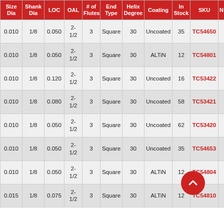| Size Dia | Shank Dia | LOC | OAL | # of Flutes | End Type | Helix Degree | Coating | In Stock | SKU | N |
| --- | --- | --- | --- | --- | --- | --- | --- | --- | --- | --- |
| 0.010 | 1/8 | 0.050 | 2-1/2 | 3 | Square | 30 | Uncoated | 35 | TC54650 |  |
| 0.010 | 1/8 | 0.050 | 2-1/2 | 3 | Square | 30 | ALTiN | 12 | TC54801 |  |
| 0.010 | 1/8 | 0.120 | 2-1/2 | 3 | Square | 30 | Uncoated | 16 | TC53422 |  |
| 0.010 | 1/8 | 0.080 | 2-1/2 | 3 | Square | 30 | Uncoated | 58 | TC53421 |  |
| 0.010 | 1/8 | 0.050 | 2-1/2 | 3 | Square | 30 | Uncoated | 62 | TC53420 |  |
| 0.010 | 1/8 | 0.050 | 2-1/2 | 3 | Square | 30 | Uncoated | 35 | TC54653 |  |
| 0.010 | 1/8 | 0.050 | 2-1/2 | 3 | Square | 30 | ALTiN | 12 | TC54804 |  |
| 0.015 | 1/8 | 0.075 | 2-1/2 | 3 | Square | 30 | ALTiN | 12 | TC54810 |  |